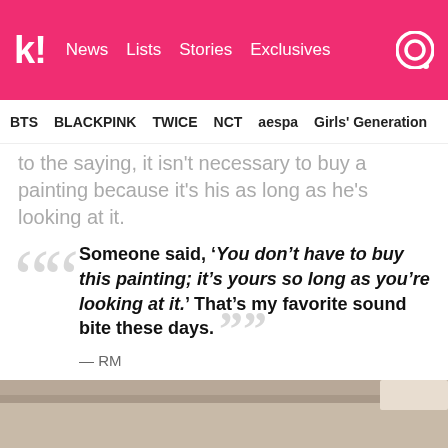k! News  Lists  Stories  Exclusives
BTS  BLACKPINK  TWICE  NCT  aespa  Girls' Generation
to the saying, it isn't necessary to buy a painting because it's his as long as he's looking at it.
Someone said, 'You don't have to buy this painting; it's yours so long as you're looking at it.' That's my favorite sound bite these days. — RM
[Figure (photo): Bottom portion of an image showing what appears to be a canvas or painting surface on a table]